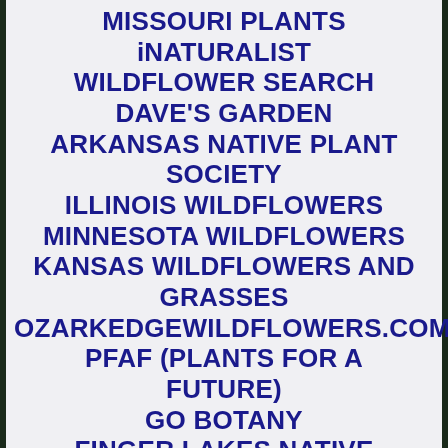MISSOURI PLANTS
iNATURALIST
WILDFLOWER SEARCH
DAVE'S GARDEN
ARKANSAS NATIVE PLANT SOCIETY
ILLINOIS WILDFLOWERS
MINNESOTA WILDFLOWERS
KANSAS WILDFLOWERS AND GRASSES
OZARKEDGEWILDFLOWERS.COM
PFAF (PLANTS FOR A FUTURE)
GO BOTANY
FINGER LAKES NATIVE PLANT SOCIETY
KANSAS NATIVE PLANTS